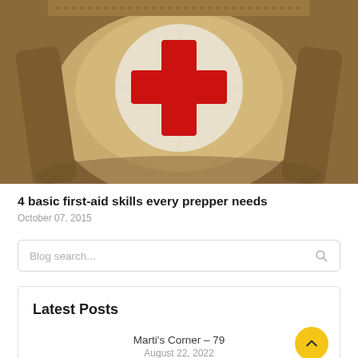[Figure (photo): Close-up photo of a military-style first aid kit pouch with a red cross on a circular white patch, brown canvas material]
4 basic first-aid skills every prepper needs
October 07, 2015
Blog search...
Latest Posts
Marti's Corner – 79
August 22, 2022